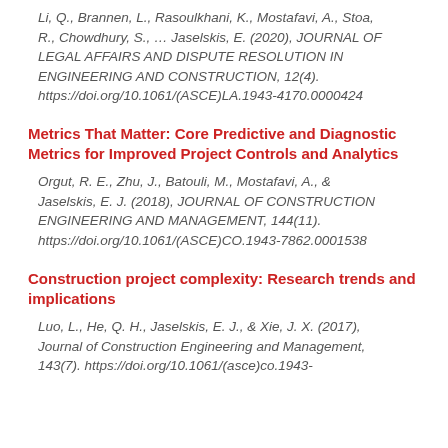Li, Q., Brannen, L., Rasoulkhani, K., Mostafavi, A., Stoa, R., Chowdhury, S., … Jaselskis, E. (2020), JOURNAL OF LEGAL AFFAIRS AND DISPUTE RESOLUTION IN ENGINEERING AND CONSTRUCTION, 12(4). https://doi.org/10.1061/(ASCE)LA.1943-4170.0000424
Metrics That Matter: Core Predictive and Diagnostic Metrics for Improved Project Controls and Analytics
Orgut, R. E., Zhu, J., Batouli, M., Mostafavi, A., & Jaselskis, E. J. (2018), JOURNAL OF CONSTRUCTION ENGINEERING AND MANAGEMENT, 144(11). https://doi.org/10.1061/(ASCE)CO.1943-7862.0001538
Construction project complexity: Research trends and implications
Luo, L., He, Q. H., Jaselskis, E. J., & Xie, J. X. (2017), Journal of Construction Engineering and Management, 143(7). https://doi.org/10.1061/(asce)co.1943-